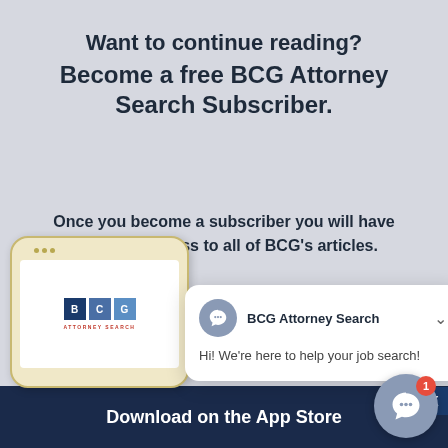Want to continue reading?
Become a free BCG Attorney Search Subscriber.
Once you become a subscriber you will have unlimited access to all of BCG's articles.
There
[Figure (screenshot): BCG Attorney Search chat popup with message: Hi! We're here to help your job search!]
[Figure (screenshot): Smartphone with BCG Attorney Search logo on screen]
app to stay on top of your legal job search wherever you
Download on the App Store